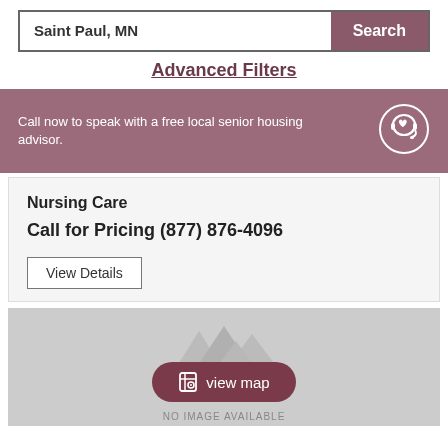Saint Paul, MN
Search
Advanced Filters
Call now to speak with a free local senior housing advisor.
Nursing Care
Call for Pricing (877) 876-4096
View Details
[Figure (screenshot): Gray placeholder image area with mountain silhouette icons and a 'view map' button overlay, with 'NO IMAGE AVAILABLE' label at bottom]